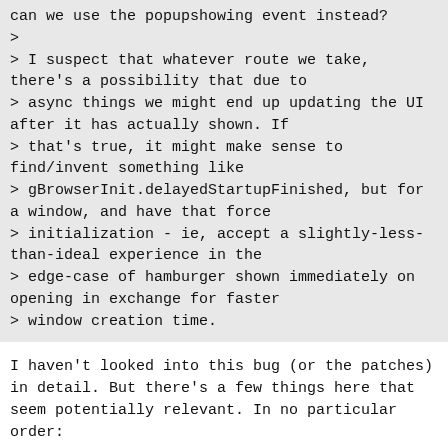can we use the popupshowing event instead?
>
> I suspect that whatever route we take, there's a possibility that due to
> async things we might end up updating the UI after it has actually shown. If
> that's true, it might make sense to find/invent something like
> gBrowserInit.delayedStartupFinished, but for a window, and have that force
> initialization - ie, accept a slightly-less-than-ideal experience in the
> edge-case of hamburger shown immediately on opening in exchange for faster
> window creation time.
I haven't looked into this bug (or the patches) in detail. But there's a few things here that seem potentially relevant. In no particular order: